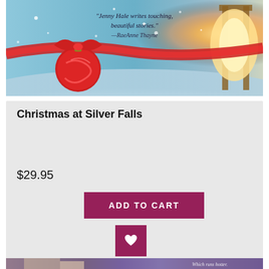[Figure (photo): Book cover for 'Christmas at Silver Falls' showing a snowy winter scene with a large red Christmas ornament with ribbon on a blue snowy background, a glowing warm light on the right side suggesting an open door, and a quote 'Jenny Hale writes touching, beautiful stories.' — RaeAnne Thayne]
Christmas at Silver Falls
$29.95
ADD TO CART
[Figure (photo): Partial bottom book cover showing a man in white tank top and a woman, with text 'Which runs hotter.' on a purple/dark background]